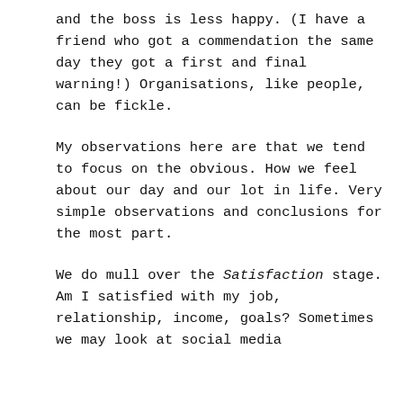and the boss is less happy. (I have a friend who got a commendation the same day they got a first and final warning!) Organisations, like people, can be fickle.
My observations here are that we tend to focus on the obvious. How we feel about our day and our lot in life. Very simple observations and conclusions for the most part.
We do mull over the Satisfaction stage. Am I satisfied with my job, relationship, income, goals? Sometimes we may look at social media